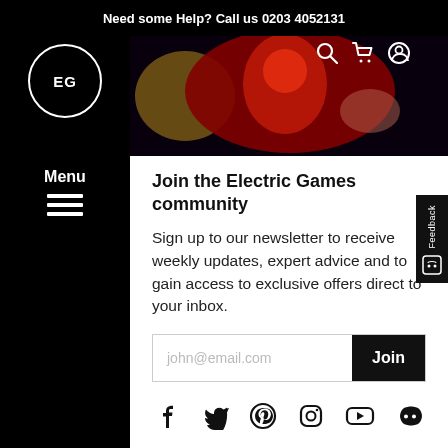Need some Help? Call us 0203 4052131
[Figure (screenshot): Electric Games website screenshot showing a gaming image with red tones, navigation sidebar with EG logo and Menu, top nav bar with phone number, search/cart/account icons]
Join the Electric Games community
Sign up to our newsletter to receive weekly updates, expert advice and to gain access to exclusive offers direct to your inbox.
john@email.com [input field] Join [button]
Facebook, Twitter, Pinterest, Instagram, YouTube, Discord social icons